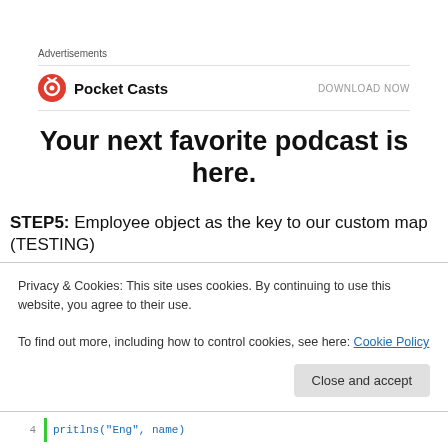Advertisements
[Figure (logo): Pocket Casts logo (red circle with headphone icon) and name, with DOWNLOAD NOW text on right]
Your next favorite podcast is here.
STEP5: Employee object as the key to our custom map (TESTING)
hashCode(): Make sure the hash code falls with 0-10 ...
Privacy & Cookies: This site uses cookies. By continuing to use this website, you agree to their use.
To find out more, including how to control cookies, see here: Cookie Policy
Close and accept